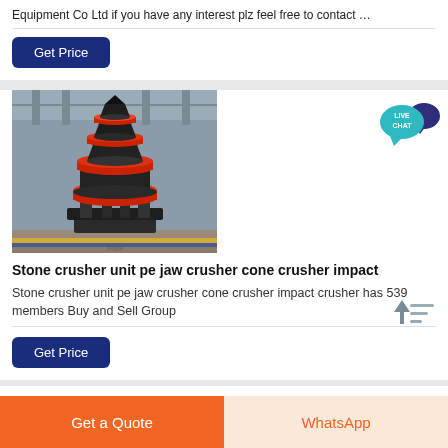Equipment Co Ltd if you have any interest plz feel free to contact …
Get Price
[Figure (photo): Industrial cone crusher machine in a factory setting, with layered black and red metal rings forming a cone shape, mounted on a steel frame.]
Stone crusher unit pe jaw crusher cone crusher impact
Stone crusher unit pe jaw crusher cone crusher impact crusher has 539 members Buy and Sell Group
Get Price
Get a Quote
WhatsApp